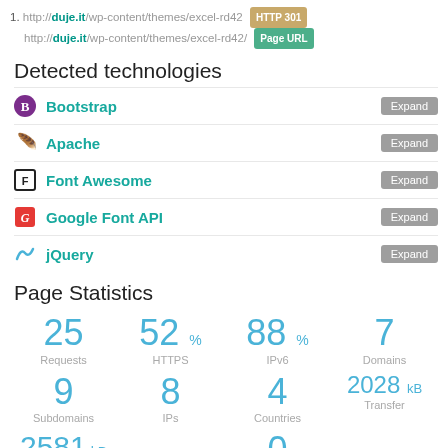1. http://duje.it/wp-content/themes/excel-rd42 [HTTP 301] http://duje.it/wp-content/themes/excel-rd42/ [Page URL]
Detected technologies
Bootstrap [Expand]
Apache [Expand]
Font Awesome [Expand]
Google Font API [Expand]
jQuery [Expand]
Page Statistics
| Requests | HTTPS | IPv6 | Domains |
| --- | --- | --- | --- |
| 25 | 52 % | 88 % | 7 |
| 9 Subdomains | 8 IPs | 4 Countries | 2028 kB Transfer |
| 2581 kB Size | 0 Cookies |  |  |
Size    Cookies